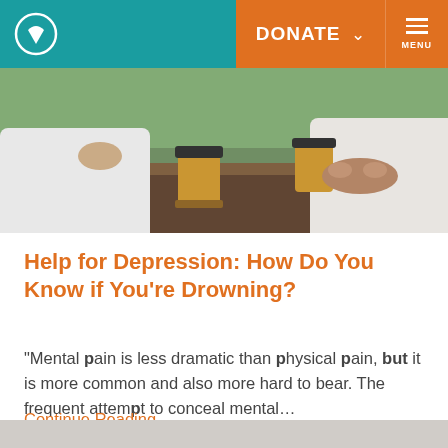DONATE MENU
[Figure (photo): Two people sitting at a wooden table with takeaway coffee cups, one person gesturing with their hand, the other with hands clasped on the table.]
Help for Depression: How Do You Know if You're Drowning?
“Mental pain is less dramatic than physical pain, but it is more common and also more hard to bear. The frequent attempt to conceal mental…
Continue Reading